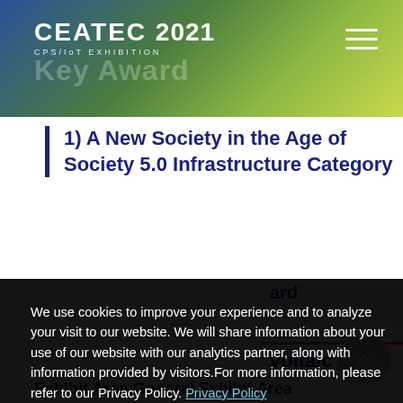CEATEC 2021 CPS/IoT EXHIBITION
1) A New Society in the Age of Society 5.0 Infrastructure Category
ard
voltaic
Exhibit Area:General Exhibit Area
We use cookies to improve your experience and to analyze your visit to our website. We will share information about your use of our website with our analytics partner, along with information provided by visitors.For more information, please refer to our Privacy Policy.
I Agree